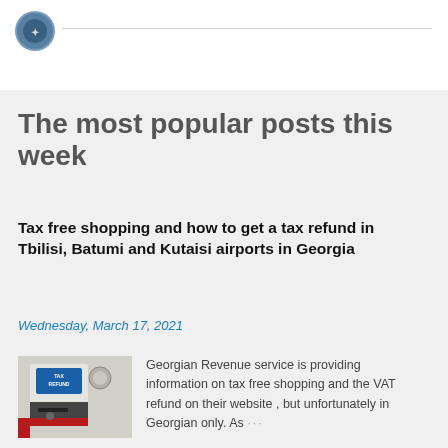[Figure (photo): Circular avatar/profile icon at top left with a blue-grey circular logo]
The most popular posts this week
Tax free shopping and how to get a tax refund in Tbilisi, Batumi and Kutaisi airports in Georgia
Wednesday, March 17, 2021
[Figure (photo): Thumbnail photo showing a tax refund kiosk/machine at an airport with a blue 'TAX REFUND' sign]
Georgian Revenue service is providing information on tax free shopping and the VAT refund on their website , but unfortunately in Georgian only. As ...